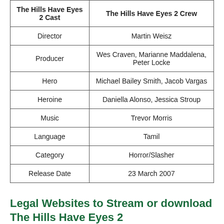| The Hills Have Eyes 2 Cast | The Hills Have Eyes 2 Crew |
| --- | --- |
| Director | Martin Weisz |
| Producer | Wes Craven, Marianne Maddalena, Peter Locke |
| Hero | Michael Bailey Smith, Jacob Vargas |
| Heroine | Daniella Alonso, Jessica Stroup |
| Music | Trevor Morris |
| Language | Tamil |
| Category | Horror/Slasher |
| Release Date | 23 March 2007 |
Legal Websites to Stream or download The Hills Have Eyes 2